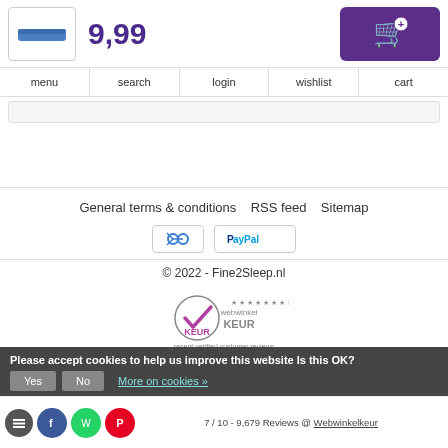[Figure (screenshot): E-commerce website header with product logo image, price 9,99, and purple add-to-cart button]
menu | search | login | wishlist | cart
[Figure (screenshot): Search/breadcrumb bar area]
General terms & conditions   RSS feed   Sitemap
[Figure (logo): Payment method icons: share/transfer icon and PayPal logo]
© 2022 - Fine2Sleep.nl
[Figure (logo): Webwinkelkeur trust badge with checkmark and stars]
Please accept cookies to help us improve this website Is this OK?
Yes   No   More on cookies »
7 / 10 - 9,679 Reviews @ Webwinkelkeur